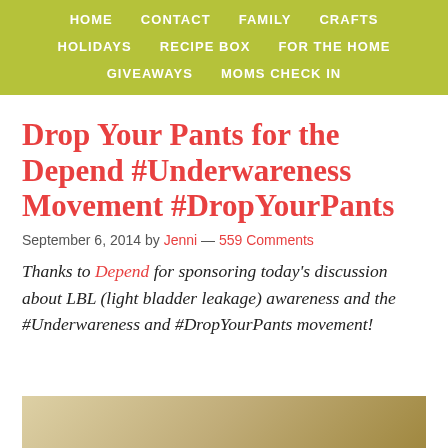HOME  CONTACT  FAMILY  CRAFTS  HOLIDAYS  RECIPE BOX  FOR THE HOME  GIVEAWAYS  MOMS CHECK IN
Drop Your Pants for the Depend #Underwareness Movement #DropYourPants
September 6, 2014 by Jenni — 559 Comments
Thanks to Depend for sponsoring today's discussion about LBL (light bladder leakage) awareness and the #Underwareness and #DropYourPants movement!
[Figure (photo): Bottom partial photo, appears to show light-colored fabric/cloth scene]